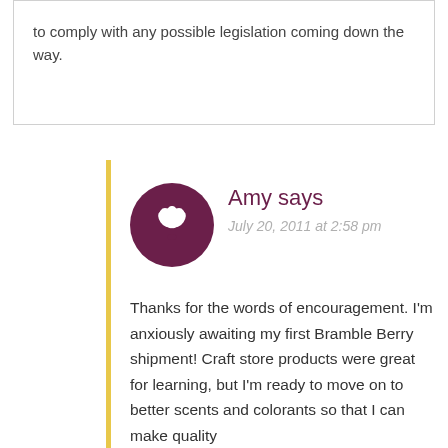to comply with any possible legislation coming down the way.
Amy says
July 20, 2011 at 2:58 pm
Thanks for the words of encouragement. I'm anxiously awaiting my first Bramble Berry shipment! Craft store products were great for learning, but I'm ready to move on to better scents and colorants so that I can make quality